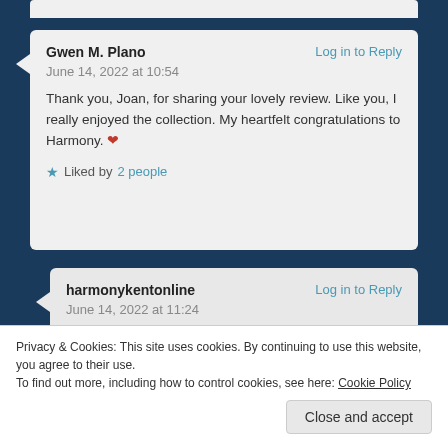Gwen M. Plano — Log in to Reply — June 14, 2022 at 10:54
Thank you, Joan, for sharing your lovely review. Like you, I really enjoyed the collection. My heartfelt congratulations to Harmony. ❤
★ Liked by 2 people
harmonykentonline — Log in to Reply — June 14, 2022 at 11:24
Privacy & Cookies: This site uses cookies. By continuing to use this website, you agree to their use. To find out more, including how to control cookies, see here: Cookie Policy
Close and accept
★ Liked by 1 person